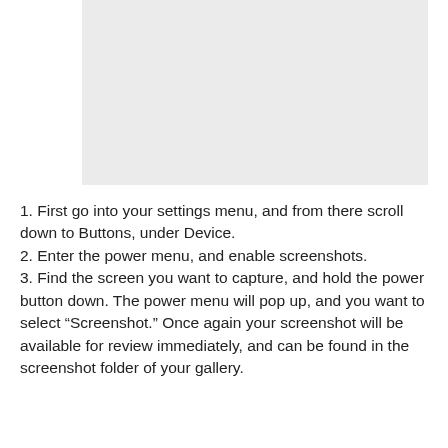[Figure (screenshot): A light gray rectangular image placeholder occupying the upper portion of the page]
1. First go into your settings menu, and from there scroll down to Buttons, under Device.
2. Enter the power menu, and enable screenshots.
3. Find the screen you want to capture, and hold the power button down. The power menu will pop up, and you want to select "Screenshot." Once again your screenshot will be available for review immediately, and can be found in the screenshot folder of your gallery.